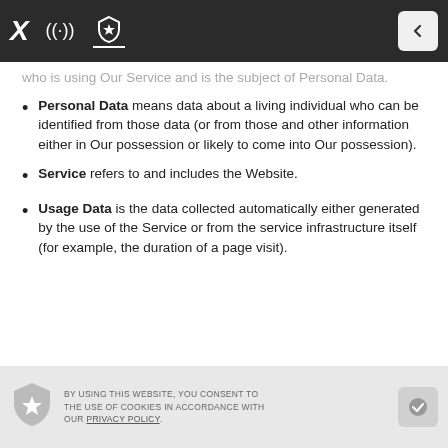Navigation bar with X logo, wifi icon, shield icon, and back button
who is using Our Service and is the subject of Personal Data.
Personal Data means data about a living individual who can be identified from those data (or from those and other information either in Our possession or likely to come into Our possession).
Service refers to and includes the Website.
Usage Data is the data collected automatically either generated by the use of the Service or from the service infrastructure itself (for example, the duration of a page visit).
BY USING THIS WEBSITE, YOU CONSENT TO THE USE OF COOKIES IN ACCORDANCE WITH OUR PRIVACY POLICY.